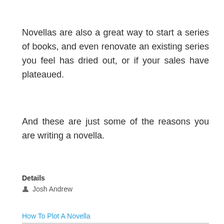Novellas are also a great way to start a series of books, and even renovate an existing series you feel has dried out, or if your sales have plateaued.
And these are just some of the reasons you are writing a novella.
Details
Josh Andrew
How To Plot A Novella